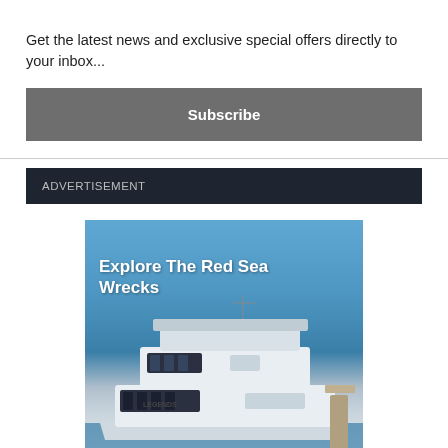Get the latest news and exclusive special offers directly to your inbox...
Subscribe
ADVERTISEMENT
[Figure (photo): Advertisement image showing a white luxury dive boat named 'Legends' on blue water with text overlay 'Explore The Red Sea Wrecks']